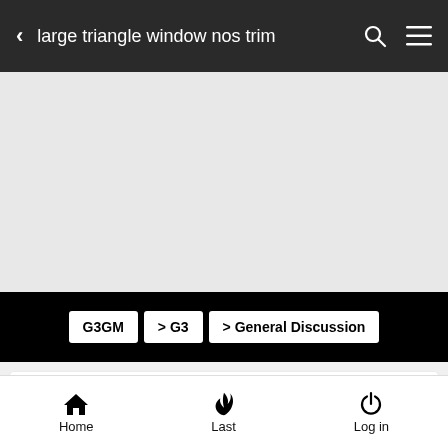large triangle window nos trim
[Figure (screenshot): Gray banner/advertisement area]
G3GM > G3 > General Discussion
large triangle window nos trim
2 posters
Home  Last  Log in